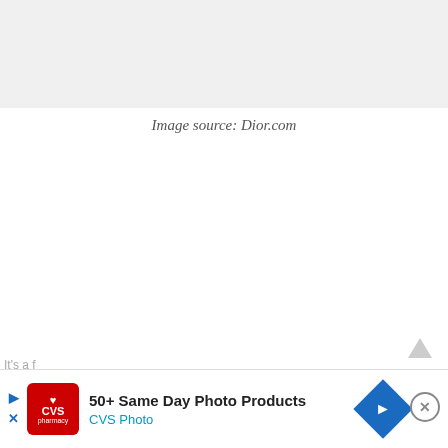[Figure (other): Gray placeholder image area at top of page]
Image source: Dior.com
[Figure (screenshot): Advertisement banner for CVS Photo: '50+ Same Day Photo Products' with CVS Pharmacy logo, play button, X button, blue navigation arrow, and close button]